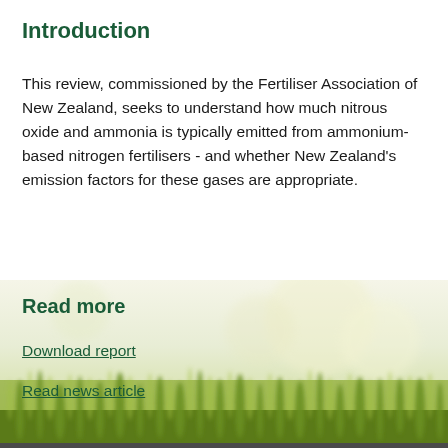Introduction
This review, commissioned by the Fertiliser Association of New Zealand, seeks to understand how much nitrous oxide and ammonia is typically emitted from ammonium-based nitrogen fertilisers - and whether New Zealand's emission factors for these gases are appropriate.
Read more
Download report
Read news article
[Figure (photo): Background photograph of green grass field, blurred bokeh effect, light green and white tones]